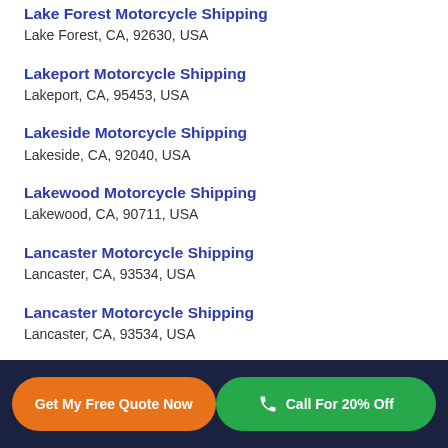Lake Forest Motorcycle Shipping
Lake Forest, CA, 92630, USA
Lakeport Motorcycle Shipping
Lakeport, CA, 95453, USA
Lakeside Motorcycle Shipping
Lakeside, CA, 92040, USA
Lakewood Motorcycle Shipping
Lakewood, CA, 90711, USA
Lancaster Motorcycle Shipping
Lancaster, CA, 93534, USA
Lancaster Motorcycle Shipping
Lancaster, CA, 93534, USA
Larkspur Motorcycle Shipping
Larkspur, CA, 94939, USA
Get My Free Quote Now | Call For 20% Off